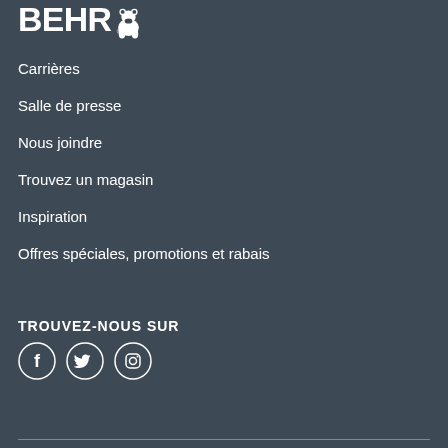[Figure (logo): BEHR logo with bear icon, white on dark background]
Carrières
Salle de presse
Nous joindre
Trouvez un magasin
Inspiration
Offres spéciales, promotions et rabais
TROUVEZ-NOUS SUR
[Figure (illustration): Social media icons: Facebook, Twitter, Instagram — white circles with white icons]